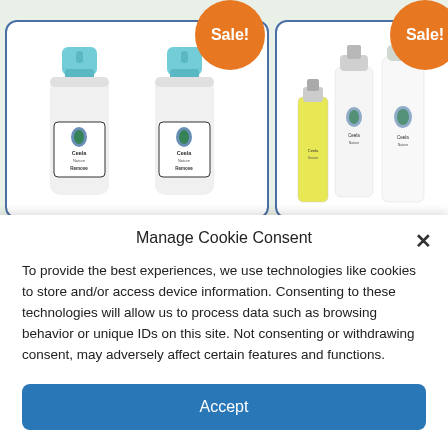[Figure (photo): Two white pump dispenser bottles with teal/cyan caps and Ceela Nature Remove labels, displayed in a white card with blue border. A Sale! badge in orange circle overlaps the top right.]
[Figure (photo): Three skincare product bottles (yellow serum and white spray/pump bottles with Ceela branding) displayed in a white card with blue border. A Sale! badge in orange circle overlaps the top right.]
Manage Cookie Consent
To provide the best experiences, we use technologies like cookies to store and/or access device information. Consenting to these technologies will allow us to process data such as browsing behavior or unique IDs on this site. Not consenting or withdrawing consent, may adversely affect certain features and functions.
Accept
Cookie Policy   Privacy and Cookie Policy